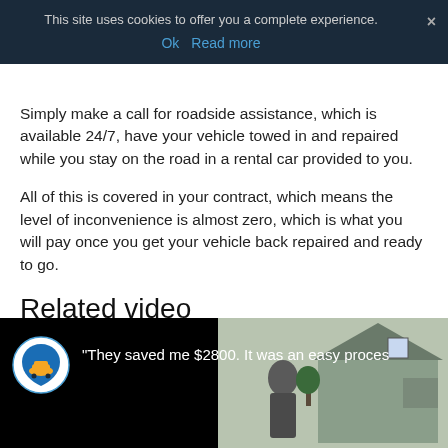This site uses cookies to offer you a complete experience.
Ok   Read more
Simply make a call for roadside assistance, which is available 24/7, have your vehicle towed in and repaired while you stay on the road in a rental car provided to you.
All of this is covered in your contract, which means the level of inconvenience is almost zero, which is what you will pay once you get your vehicle back repaired and ready to go.
Related video
[Figure (screenshot): Video thumbnail showing a person outside a suburban house with a logo and text: "They saved me $2800. It was an easy proce..."]